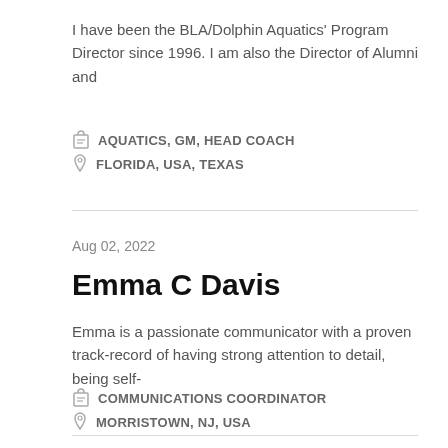I have been the BLA/Dolphin Aquatics' Program Director since 1996. I am also the Director of Alumni and
AQUATICS, GM, HEAD COACH
FLORIDA, USA, TEXAS
Aug 02, 2022
Emma C Davis
Emma is a passionate communicator with a proven track-record of having strong attention to detail, being self-
COMMUNICATIONS COORDINATOR
MORRISTOWN, NJ, USA
Jul 15, 2022